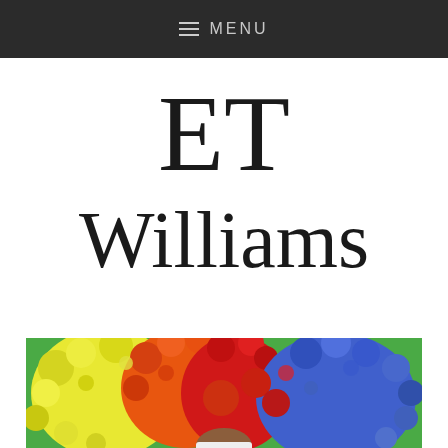≡ MENU
ET Williams
[Figure (photo): Person wearing a colorful rainbow afro wig (yellow, orange, red, blue) against a green background, visible from the top of the head]